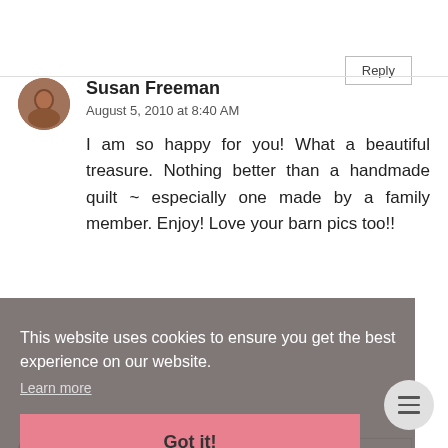Reply
Susan Freeman
August 5, 2010 at 8:40 AM
I am so happy for you! What a beautiful treasure. Nothing better than a handmade quilt ~ especially one made by a family member. Enjoy! Love your barn pics too!!
This website uses cookies to ensure you get the best experience on our website.
Learn more
Got it!
Reply
Blue Ridge Altered Art